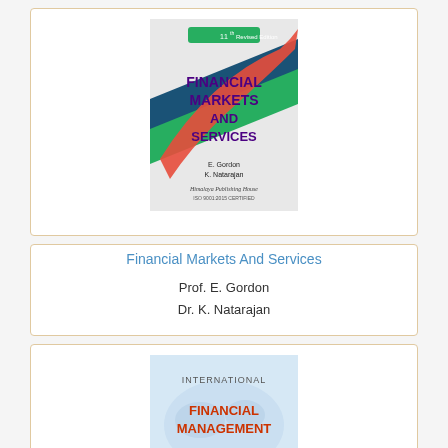[Figure (illustration): Book cover of 'Financial Markets And Services', 11th Revised Edition, by E. Gordon and K. Natarajan, published by Himalaya Publishing House. Cover features diagonal stripes in blue, green, and white with a red arrow swooping across, and the title in bold purple/white text.]
Financial Markets And Services
Prof. E. Gordon
Dr. K. Natarajan
[Figure (illustration): Book cover of 'International Financial Management' by O.P. Agarwal. Cover shows a world map background in light blue with the title text: INTERNATIONAL in gray, FINANCIAL MANAGEMENT in bold orange/red, and gold coins stacked at the bottom.]